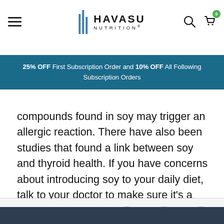Havasu Nutrition — site header with hamburger menu, logo, search and cart icons
25% OFF First Subscription Order and 10% OFF All Following Subscription Orders
compounds found in soy may trigger an allergic reaction. There have also been studies that found a link between soy and thyroid health. If you have concerns about introducing soy to your daily diet, talk to your doctor to make sure it's a healthy choice for you.
[Figure (other): Three circular social/share icon buttons in footer area, plus a back-to-top circular button with upward chevron]